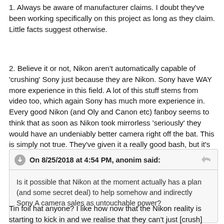1. Always be aware of manufacturer claims. I doubt they've been working specifically on this project as long as they claim. Little facts suggest otherwise.
2. Believe it or not, Nikon aren't automatically capable of 'crushing' Sony just because they are Nikon. Sony have WAY more experience in this field. A lot of this stuff stems from video too, which again Sony has much more experience in. Every good Nikon (and Oly and Canon etc) fanboy seems to think that as soon as Nikon took mirrorless 'seriously' they would have an undeniably better camera right off the bat. This is simply not true. They've given it a really good bash, but it's not perfect. Canon can't magically do that either.
On 8/25/2018 at 4:54 PM, anonim said: Is it possible that Nikon at the moment actually has a plan (and some secret deal) to help somehow and indirectly Sony A camera sales as untouchable power?
Tin foil hat anyone? I like how now that the Nikon reality is starting to kick in and we realise that they can't just [crush] Sony